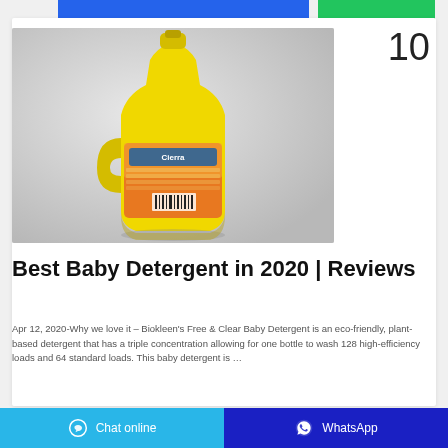[Figure (photo): Yellow plastic laundry detergent bottle (Cierra brand) with orange label, on a light grey background]
Best Baby Detergent in 2020 | Reviews
Apr 12, 2020-Why we love it – Biokleen's Free & Clear Baby Detergent is an eco-friendly, plant-based detergent that has a triple concentration allowing for one bottle to wash 128 high-efficiency loads and 64 standard loads. This baby detergent is …
Chat online | WhatsApp